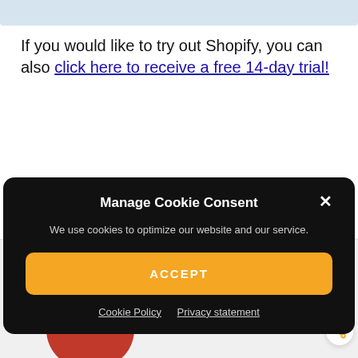[Figure (screenshot): Top blue-gray decorative bar at top of page]
If you would like to try out Shopify, you can also click here to receive a free 14-day trial!
[Figure (screenshot): Cookie consent modal popup with dark background. Title: Manage Cookie Consent. Body text: We use cookies to optimize our website and our service. ACCEPT button in orange. Links: Cookie Policy, Privacy statement.]
[Figure (screenshot): Advertisement banner at bottom showing a man in a red shirt celebrating, a price tag showing $9,343 total sales, and text: Your Profitable Dropshipping Business is Waiting. Build it today with Sell the Trend Shops. Get started for free button. Heart and share icons on right.]